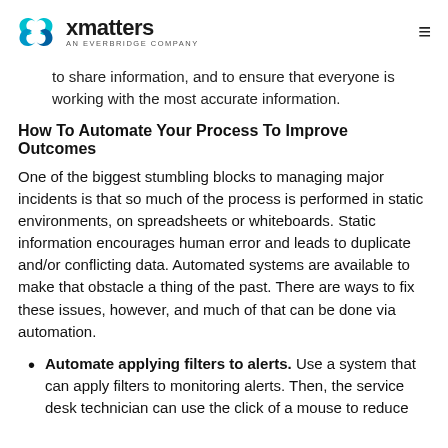xmatters — AN EVERBRIDGE COMPANY
central issue tracking service to allow all stakeholders to share information, and to ensure that everyone is working with the most accurate information.
How To Automate Your Process To Improve Outcomes
One of the biggest stumbling blocks to managing major incidents is that so much of the process is performed in static environments, on spreadsheets or whiteboards. Static information encourages human error and leads to duplicate and/or conflicting data. Automated systems are available to make that obstacle a thing of the past. There are ways to fix these issues, however, and much of that can be done via automation.
Automate applying filters to alerts. Use a system that can apply filters to monitoring alerts. Then, the service desk technician can use the click of a mouse to reduce